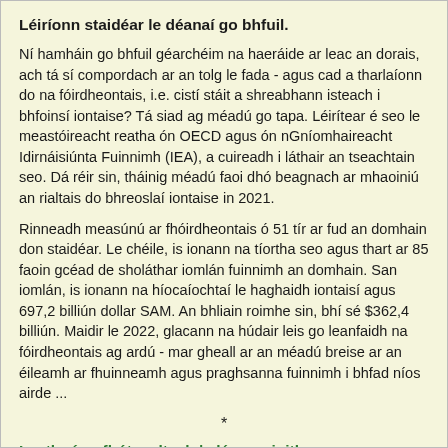Léiríonn staidéar le déanaí go bhfuil.
Ní hamháin go bhfuil géarchéim na haeráide ar leac an dorais, ach tá sí compordach ar an tolg le fada - agus cad a tharlaíonn do na fóirdheontais, i.e. cistí stáit a shreabhann isteach i bhfoinsí iontaise? Tá siad ag méadú go tapa. Léirítear é seo le meastóireacht reatha ón OECD agus ón nGníomhaireacht Idirnáisiúnta Fuinnimh (IEA), a cuireadh i láthair an tseachtain seo. Dá réir sin, tháinig méadú faoi dhó beagnach ar mhaoiniú an rialtais do bhreoslaí iontaise in 2021.
Rinneadh measúnú ar fhóirdheontais ó 51 tír ar fud an domhain don staidéar. Le chéile, is ionann na tíortha seo agus thart ar 85 faoin gcéad de sholáthar iomlán fuinnimh an domhain. San iomlán, is ionann na híocaíochtaí le haghaidh iontaisí agus 697,2 billiún dollar SAM. An bhliain roimhe sin, bhí sé $362,4 billiún. Maidir le 2022, glacann na húdair leis go leanfaidh na fóirdheontais ag ardú - mar gheall ar an méadú breise ar an éileamh ar fhuinneamh agus praghsanna fuinnimh i bhfad níos airde ...
*
Leathnú ar fhótavoltach | clár maoinithe